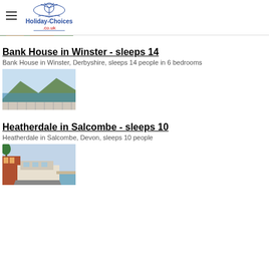Holiday-Choices.co.uk
[Figure (photo): Partial view of a property photo, cropped at top]
Bank House in Winster - sleeps 14
Bank House in Winster, Derbyshire, sleeps 14 people in 6 bedrooms
[Figure (photo): Aerial or elevated view of a coastal/valley property with mountains and sea in background]
Heatherdale in Salcombe - sleeps 10
Heatherdale in Salcombe, Devon, sleeps 10 people
[Figure (photo): Houseboat or waterside property with buildings, boat visible at dock]